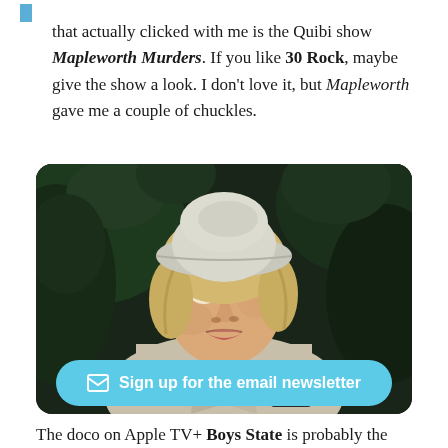that actually clicked with me is the Quibi show Mapleworth Murders. If you like 30 Rock, maybe give the show a look. I don't love it, but Mapleworth gave me a couple of chuckles.
[Figure (photo): A woman with blonde hair wearing a light grey bucket hat and a trench coat, looking over her shoulder with a surprised expression. Dark green foliage in background. Scene appears to be from the show Mapleworth Murders.]
Sign up for the email newsletter
The doco on Apple TV+ Boys State is probably the